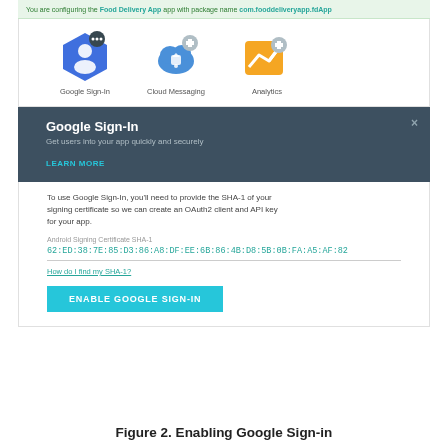[Figure (screenshot): Google Firebase console screenshot showing Google Sign-In setup dialog with icons for Google Sign-In, Cloud Messaging, and Analytics. A dark panel shows 'Google Sign-In' title with subtitle and LEARN MORE link. Below is an input for Android Signing Certificate SHA-1 with value 62:ED:38:7E:85:D3:86:A8:DF:EE:6B:86:4B:D8:5B:0B:FA:A5:AF:82, a 'How do I find my SHA-1?' link, and an ENABLE GOOGLE SIGN-IN button.]
Figure 2. Enabling Google Sign-in